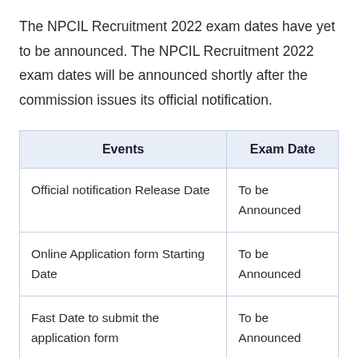The NPCIL Recruitment 2022 exam dates have yet to be announced. The NPCIL Recruitment 2022 exam dates will be announced shortly after the commission issues its official notification.
| Events | Exam Date |
| --- | --- |
| Official notification Release Date | To be Announced |
| Online Application form Starting Date | To be Announced |
| Fast Date to submit the application form | To be Announced |